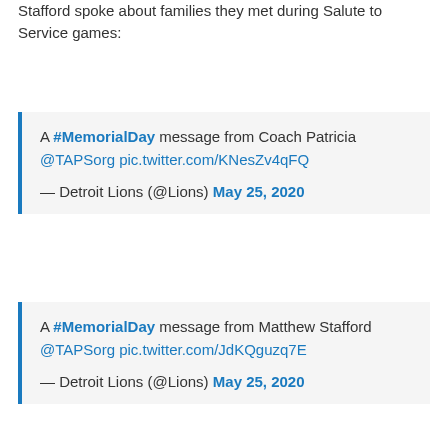Stafford spoke about families they met during Salute to Service games:
A #MemorialDay message from Coach Patricia @TAPSorg pic.twitter.com/KNesZv4qFQ
— Detroit Lions (@Lions) May 25, 2020
A #MemorialDay message from Matthew Stafford @TAPSorg pic.twitter.com/JdKQguzq7E
— Detroit Lions (@Lions) May 25, 2020